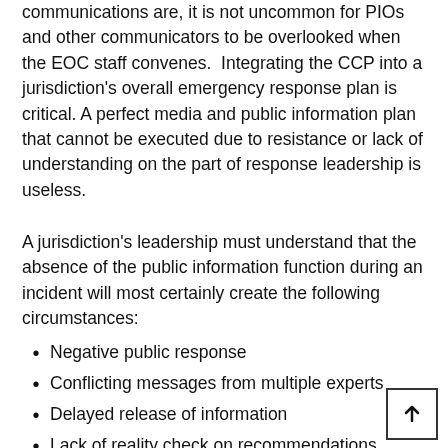communications are, it is not uncommon for PIOs and other communicators to be overlooked when the EOC staff convenes.  Integrating the CCP into a jurisdiction's overall emergency response plan is critical. A perfect media and public information plan that cannot be executed due to resistance or lack of understanding on the part of response leadership is useless.
A jurisdiction's leadership must understand that the absence of the public information function during an incident will most certainly create the following circumstances:
Negative public response
Conflicting messages from multiple experts
Delayed release of information
Lack of reality check on recommendations